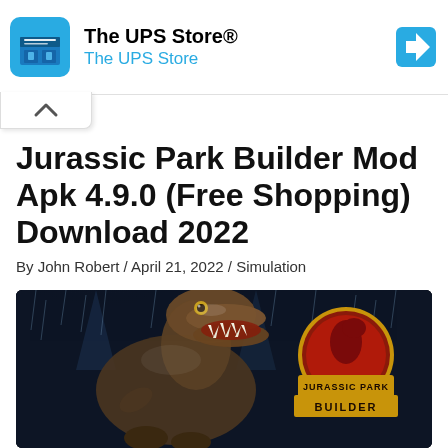[Figure (screenshot): The UPS Store ad banner with blue store icon, 'The UPS Store®' title, 'The UPS Store' subtitle in blue, and blue navigation diamond arrow icon on right]
Jurassic Park Builder Mod Apk 4.9.0 (Free Shopping) Download 2022
By John Robert / April 21, 2022 / Simulation
[Figure (photo): Jurassic Park Builder game promotional image showing a T-Rex roaring in rain with spotlights and the Jurassic Park Builder logo on the right side with circular emblem]